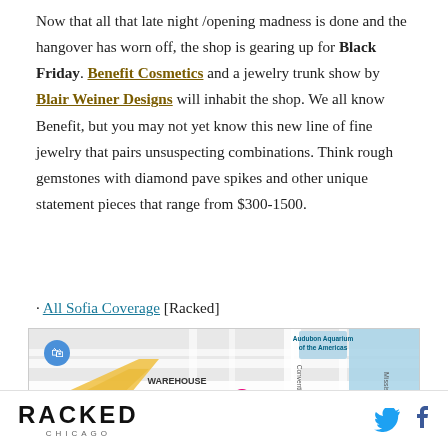Now that all that late night /opening madness is done and the hangover has worn off, the shop is gearing up for Black Friday. Benefit Cosmetics and a jewelry trunk show by Blair Weiner Designs will inhabit the shop. We all know Benefit, but you may not yet know this new line of fine jewelry that pairs unsuspecting combinations. Think rough gemstones with diamond pave spikes and other unique statement pieces that range from $300-1500.
· All Sofia Coverage [Racked]
[Figure (map): Google map showing Warehouse District area in New Orleans with a pink location marker, The National WWII Museum marker, and Audubon Aquarium of the Americas, with the Mississippi River visible on the right.]
RACKED CHICAGO